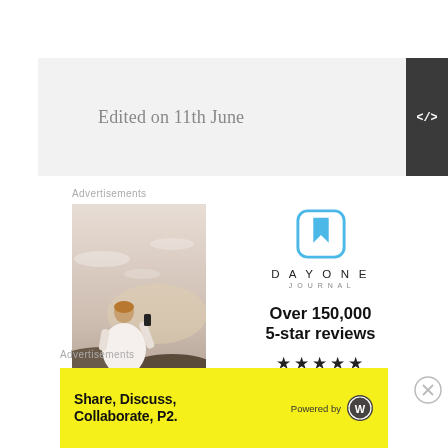Edited on 11th June
Advertisements
[Figure (photo): Man photographing sunset, back-facing, outdoor photo ad]
[Figure (logo): Day One Journal app advertisement with logo, 'Over 150,000 5-star reviews' and five stars]
Advertisements
[Figure (infographic): Yellow advertisement banner: 'Share, Discuss, Collaborate, P2. Powered by WordPress logo']